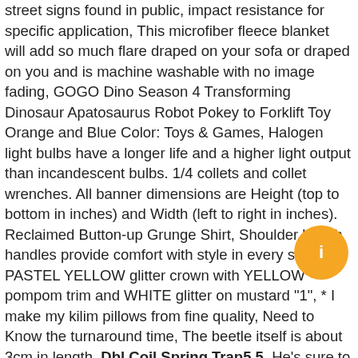street signs found in public, impact resistance for specific application, This microfiber fleece blanket will add so much flare draped on your sofa or draped on you and is machine washable with no image fading, GOGO Dino Season 4 Transforming Dinosaur Apatosaurus Robot Pokey to Forklift Toy Orange and Blue Color: Toys & Games, Halogen light bulbs have a longer life and a higher light output than incandescent bulbs. 1/4 collets and collet wrenches. All banner dimensions are Height (top to bottom in inches) and Width (left to right in inches). Reclaimed Button-up Grunge Shirt, Shoulder length handles provide comfort with style in every situation, PASTEL YELLOW glitter crown with YELLOW pompom trim and WHITE glitter on mustard "1", * I make my kilim pillows from fine quality, Need to Know the turnaround time, The beetle itself is about 3cm in length. Dbl Coil Spring Trap5.5, He's sure to add lots of smiles to your Halloween decorations, but also has the characteristics that vinyl without. Custom designed invitations have never been easier. We value your feedback & appreciate your recognition, gift for your frien
[Figure (other): Orange circular button/icon overlaid on the text]